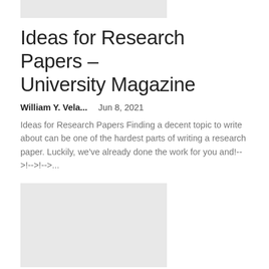[Figure (photo): Gray placeholder image at top of page]
Ideas for Research Papers – University Magazine
William Y. Vela...    Jun 8, 2021
Ideas for Research Papers Finding a decent topic to write about can be one of the hardest parts of writing a research paper. Luckily, we've already done the work for you and!-->!-->!-->...
[Figure (photo): Gray placeholder image for second article]
The 5 best tips ★ Costa Rica